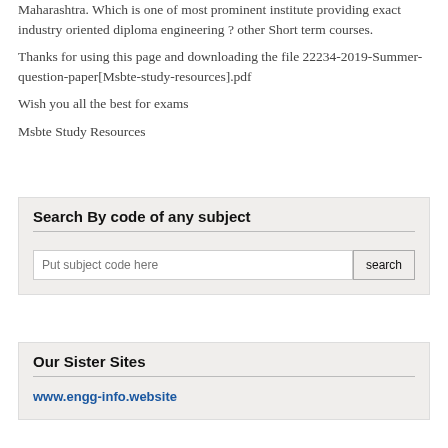Maharashtra. Which is one of most prominent institute providing exact industry oriented diploma engineering ? other Short term courses.
Thanks for using this page and downloading the file 22234-2019-Summer-question-paper[Msbte-study-resources].pdf
Wish you all the best for exams
Msbte Study Resources
Search By code of any subject
[Figure (screenshot): Search input box with placeholder text 'Put subject code here' and a 'search' button]
Our Sister Sites
www.engg-info.website